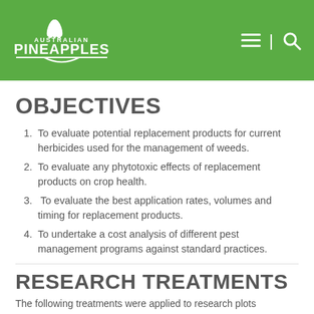Australian Pineapples
OBJECTIVES
To evaluate potential replacement products for current herbicides used for the management of weeds.
To evaluate any phytotoxic effects of replacement products on crop health.
To evaluate the best application rates, volumes and timing for replacement products.
To undertake a cost analysis of different pest management programs against standard practices.
RESEARCH TREATMENTS
The following treatments were applied to research plots